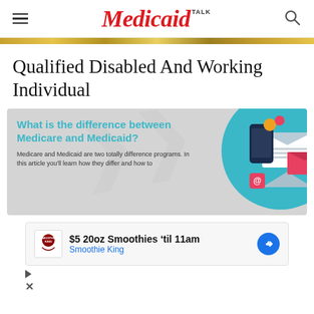Medicaid TALK
Qualified Disabled And Working Individual
[Figure (infographic): Infographic asking 'What is the difference between Medicare and Medicaid?' with teal heading text, body text 'Medicare and Medicaid are two totally difference programs. In this article you'll learn how they differ and how to...', and an illustration of email envelopes and a phone device on a teal circle background.]
[Figure (screenshot): Advertisement banner: '$5 20oz Smoothies til 11am' from Smoothie King with navigation arrow icon and play/close icons below.]